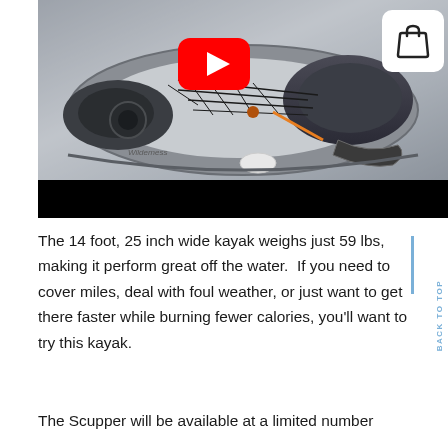[Figure (photo): Overhead view of a kayak (top-on view showing interior cockpit area, seat, and hull) displayed on a grey surface, with a YouTube play button overlay and a shopping bag icon in the top right corner. A black bar appears at the bottom of the image.]
The 14 foot, 25 inch wide kayak weighs just 59 lbs, making it perform great off the water.  If you need to cover miles, deal with foul weather, or just want to get there faster while burning fewer calories, you'll want to try this kayak.
The Scupper will be available at a limited number